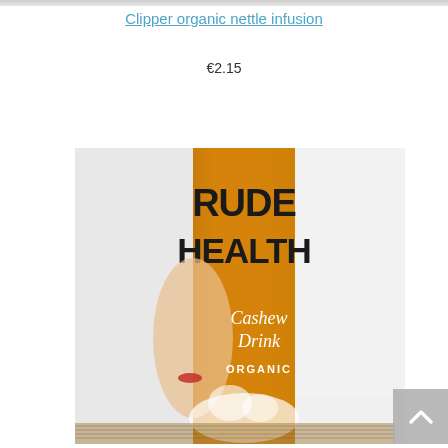[Figure (photo): Thin horizontal strip at top, partial image of previous product]
Clipper organic nettle infusion
€2.15
Add to basket
[Figure (photo): Product photo of Rude Health Cashew Drink Organic carton with orange label showing a face and milk splash, displayed against a white background on a woven surface]